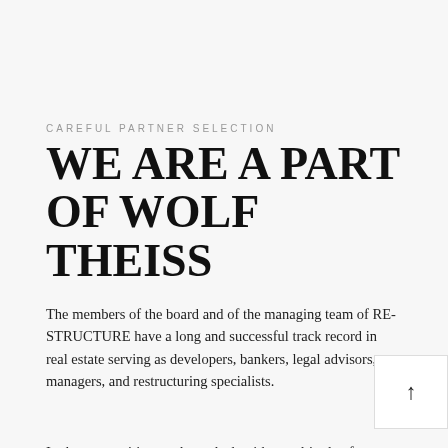CAREFUL PARTNER SELECTION
WE ARE A PART OF WOLF THEISS
The members of the board and of the managing team of RE-STRUCTURE have a long and successful track record in real estate serving as developers, bankers, legal advisors, managers, and restructuring specialists.
In these capacities, we have dealt with a multitude of projects and assets throughout Western Europe and the entire CEE/SEE region.